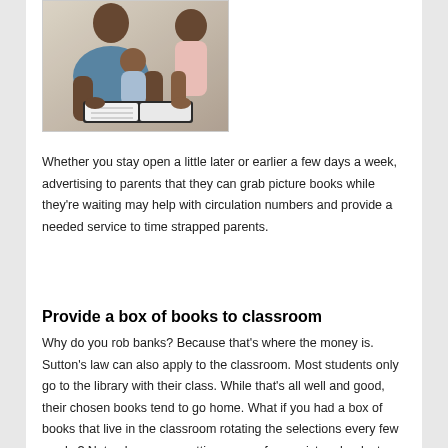[Figure (photo): A family reading together — an adult and a child looking at a picture book, with a baby also present]
Whether you stay open a little later or earlier a few days a week, advertising to parents that they can grab picture books while they're waiting may help with circulation numbers and provide a needed service to time strapped parents.
Provide a box of books to classroom
Why do you rob banks? Because that's where the money is. Sutton's law can also apply to the classroom. Most students only go to the library with their class. While that's all well and good, their chosen books tend to go home. What if you had a box of books that live in the classroom rotating the selections every few weeks? Not only are you getting some of your picture books to see the light of the classroom, you may be helping a stressed out teacher find something for children to learn through first hand